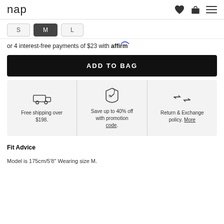nap
S  M  L
or 4 interest-free payments of $23 with affirm
ADD TO BAG
Free shipping over $198. | Save up to 40% off with promotion code. | Return & Exchange policy. More
Fit Advice
Model is 175cm/5'8" Wearing size M.